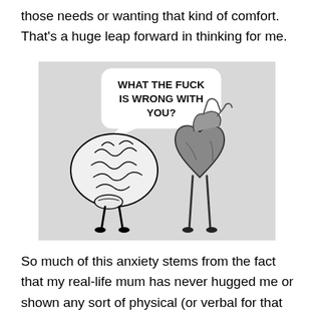those needs or wanting that kind of comfort. That's a huge leap forward in thinking for me.
[Figure (illustration): Illustration of a cartoon brain with legs on the left facing a cartoon anatomical heart with legs on the right. The brain has a speech bubble that reads 'WHAT THE FUCK IS WRONG WITH YOU?' in bold black text. The background is light grey.]
So much of this anxiety stems from the fact that my real-life mum has never hugged me or shown any sort of physical (or verbal for that matter) affection and it sucks